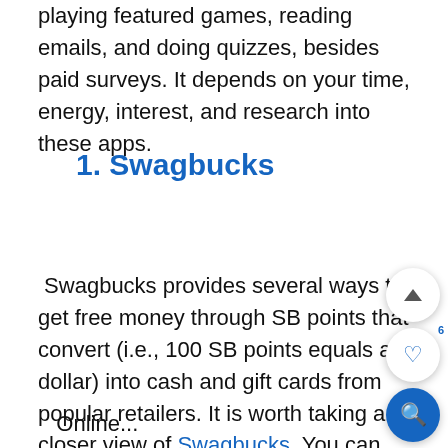playing featured games, reading emails, and doing quizzes, besides paid surveys. It depends on your time, energy, interest, and research into these apps.
1. Swagbucks
Swagbucks provides several ways to get free money through SB points that convert (i.e., 100 SB points equals a dollar) into cash and gift cards from popular retailers. It is worth taking a closer view of Swagbucks. You can earn a $10 bonus just for creating an account and participating in the different activities:
Online...